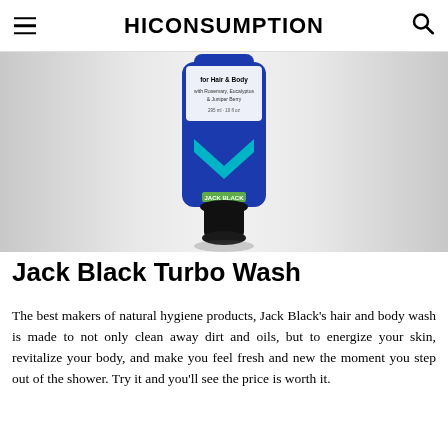HICONSUMPTION
[Figure (photo): Blue tube of Jack Black Turbo Wash hair and body wash product with a black cap, shown on a light gray gradient background. The tube has text 'for Hair & Body with Rosemary, Eucalyptus & Juniper Berry'.]
Jack Black Turbo Wash
The best makers of natural hygiene products, Jack Black's hair and body wash is made to not only clean away dirt and oils, but to energize your skin, revitalize your body, and make you feel fresh and new the moment you step out of the shower. Try it and you'll see the price is worth it.